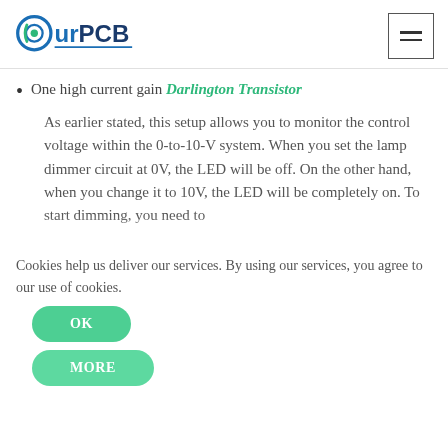OurPCB [logo with hamburger menu icon]
One high current gain Darlington Transistor
As earlier stated, this setup allows you to monitor the control voltage within the 0-to-10-V system. When you set the lamp dimmer circuit at 0V, the LED will be off. On the other hand, when you change it to 10V, the LED will be completely on. To start dimming, you need to adjust the voltage between 10V to 0V. In this circuit,
Cookies help us deliver our services. By using our services, you agree to our use of cookies.
OK
MORE